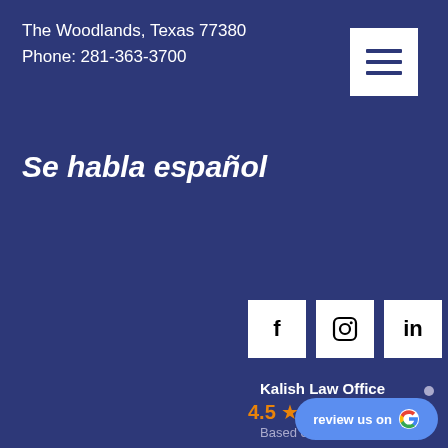The Woodlands, Texas 77380
Phone: 281-363-3700
[Figure (other): Hamburger menu icon — three horizontal white lines on white bordered square]
Se habla español
[Figure (other): Social media icon buttons: Facebook (f), Instagram (camera circle), LinkedIn (in), Twitter (bird)]
Kalish Law Office
4.5 ★★★★½  Based on 22 reviews
[Figure (other): Blue rounded button: 'review us on Google']